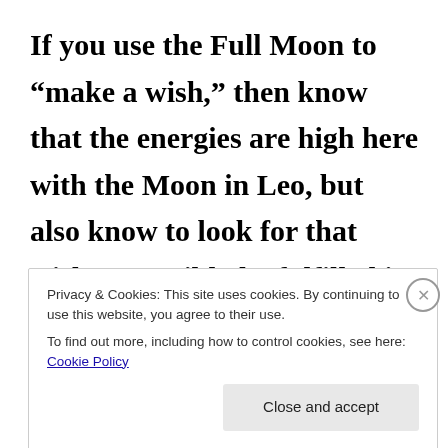If you use the Full Moon to “make a wish,” then know that the energies are high here with the Moon in Leo, but also know to look for that wish to possibly be fulfilled in unexpected
Privacy & Cookies: This site uses cookies. By continuing to use this website, you agree to their use. To find out more, including how to control cookies, see here: Cookie Policy